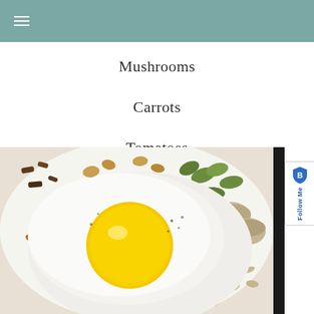≡
Mushrooms
Carrots
Tomatoes
[Figure (photo): Close-up photo of a fried egg on top of a bowl with mushrooms, edamame, tomatoes, and other vegetables on a white plate]